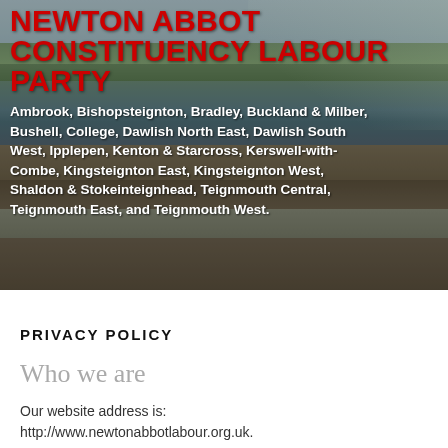[Figure (photo): Aerial/landscape photo of Newton Abbot area showing town buildings in background, green hills, a river or estuary with mud flats, and boats in the foreground. Photo overlaid with red title text and white subtitle text.]
NEWTON ABBOT CONSTITUENCY LABOUR PARTY
Ambrook, Bishopsteignton, Bradley, Buckland & Milber, Bushell, College, Dawlish North East, Dawlish South West, Ipplepen, Kenton & Starcross, Kerswell-with-Combe, Kingsteignton East, Kingsteignton West, Shaldon & Stokeinteignhead, Teignmouth Central, Teignmouth East, and Teignmouth West.
PRIVACY POLICY
Who we are
Our website address is: http://www.newtonabbotlabour.org.uk.